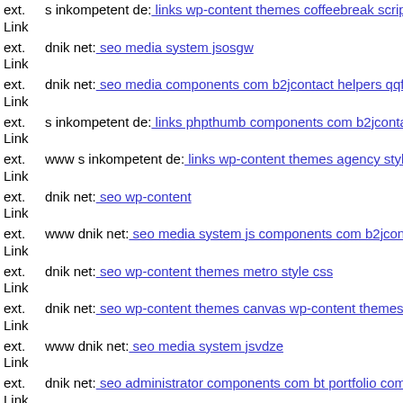ext. Link s inkompetent de: links wp-content themes coffeebreak scripts
ext. Link dnik net: seo media system jsosgw
ext. Link dnik net: seo media components com b2jcontact helpers qqfile
ext. Link s inkompetent de: links phpthumb components com b2jcontact
ext. Link www s inkompetent de: links wp-content themes agency style c
ext. Link dnik net: seo wp-content
ext. Link www dnik net: seo media system js components com b2jcontac
ext. Link dnik net: seo wp-content themes metro style css
ext. Link dnik net: seo wp-content themes canvas wp-content themes opt
ext. Link www dnik net: seo media system jsvdze
ext. Link dnik net: seo administrator components com bt portfolio compo